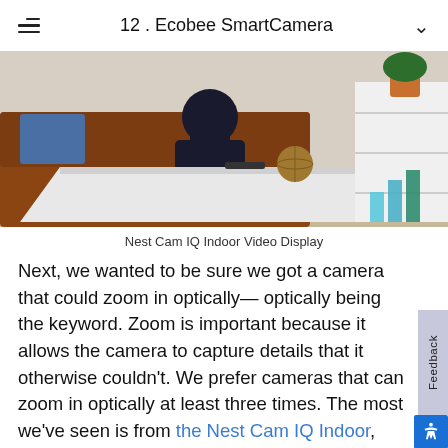12 . Ecobee SmartCamera
[Figure (photo): Indoor room photo showing a person sitting cross-legged on a brown leather sofa, with a white coffee table in the foreground holding a globe and a dark object. White shelving unit visible on the right side of the room. Colorful bar chart overlay visible in the bottom-right corner of the image.]
Nest Cam IQ Indoor Video Display
Next, we wanted to be sure we got a camera that could zoom in optically— optically being the keyword. Zoom is important because it allows the camera to capture details that it otherwise couldn't. We prefer cameras that can zoom in optically at least three times. The most we've seen is from the Nest Cam IQ Indoor, which can zoom in a whopping 12 times.